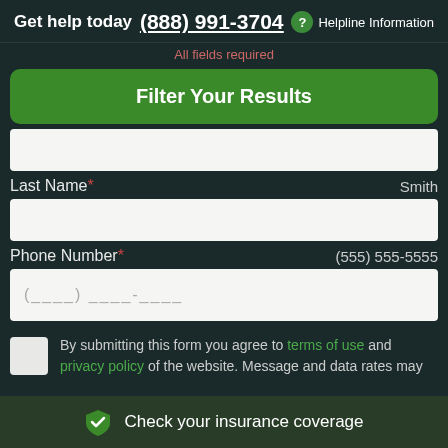Get help today  (888) 991-3704  ? Helpline Information
All fields required
Filter Your Results
Last Name * Smith
Phone Number * (555) 555-5555
By submitting this form you agree to terms of use and privacy policy of the website. Message and data rates may
Check your insurance coverage